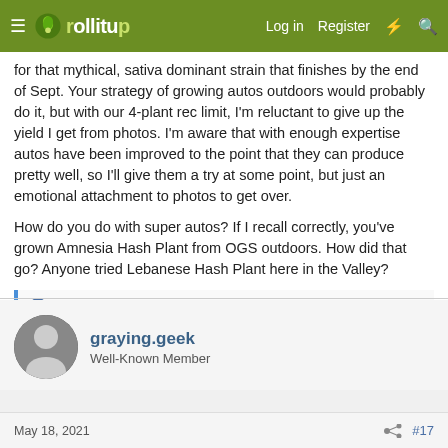Rollitup - Log in - Register
for that mythical, sativa dominant strain that finishes by the end of Sept. Your strategy of growing autos outdoors would probably do it, but with our 4-plant rec limit, I'm reluctant to give up the yield I get from photos. I'm aware that with enough expertise autos have been improved to the point that they can produce pretty well, so I'll give them a try at some point, but just an emotional attachment to photos to get over.

How do you do with super autos? If I recall correctly, you've grown Amnesia Hash Plant from OGS outdoors. How did that go? Anyone tried Lebanese Hash Plant here in the Valley?
Tim Fox
graying.geek
Well-Known Member
May 18, 2021  #17